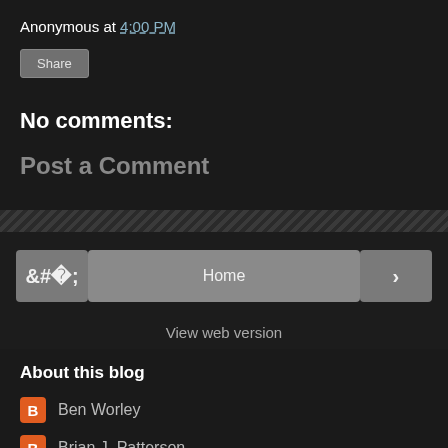Anonymous at 4:00 PM
Share
No comments:
Post a Comment
Home
View web version
About this blog
Ben Worley
Brian J. Patterson
Chris Brecheen
Ellie Collins